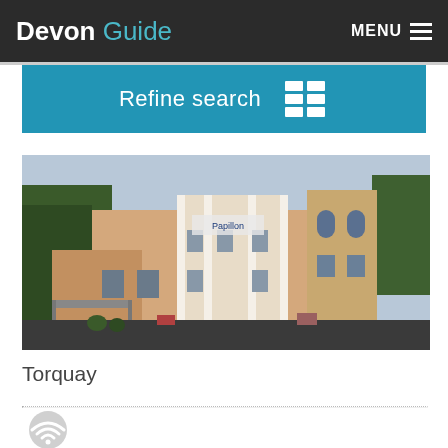Devon Guide   MENU
Refine search
[Figure (photo): Exterior photo of Papillon hotel/guesthouse building in Torquay — a large cream/peach-coloured Victorian-style building with arched windows, a covered entrance canopy, trees, and a parking area in the foreground.]
Torquay
[Figure (other): WiFi signal icon (grey circular wifi symbol)]